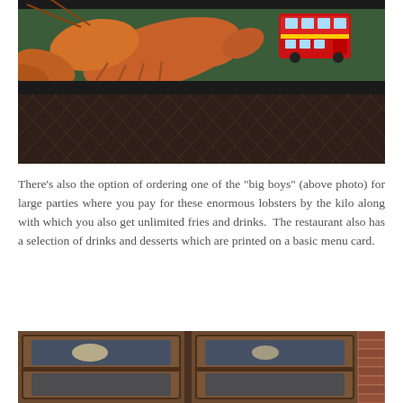[Figure (photo): Close-up photo of a large live lobster in a tank display case with a red double-decker London bus toy visible in the background, green metal mesh grating below]
There's also the option of ordering one of the "big boys" (above photo) for large parties where you pay for these enormous lobsters by the kilo along with which you also get unlimited fries and drinks.  The restaurant also has a selection of drinks and desserts which are printed on a basic menu card.
[Figure (photo): Interior photo of a restaurant showing wooden cabinets or display cases with glass doors and a brick wall visible on the right side]